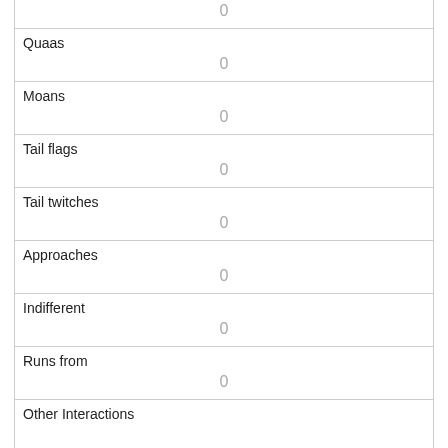| 0 |
| Quaas | 0 |
| Moans | 0 |
| Tail flags | 0 |
| Tail twitches | 0 |
| Approaches | 0 |
| Indifferent | 0 |
| Runs from | 0 |
| Other Interactions |  |
| Lat/Long | POINT (-73.9761107065353 40.769642060286) |
| Link |